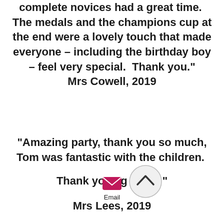complete novices had a great time.  The medals and the champions cup at the end were a lovely touch that made everyone - including the birthday boy - feel very special.  Thank you."
Mrs Cowell, 2019
"Amazing party, thank you so much, Tom was fantastic with the children.  Thank you ag..."
Mrs Lees, 2019
[Figure (other): Circular scroll-up navigation button with chevron arrow pointing upward]
[Figure (other): Pink/magenta email envelope icon with label 'Email' below]